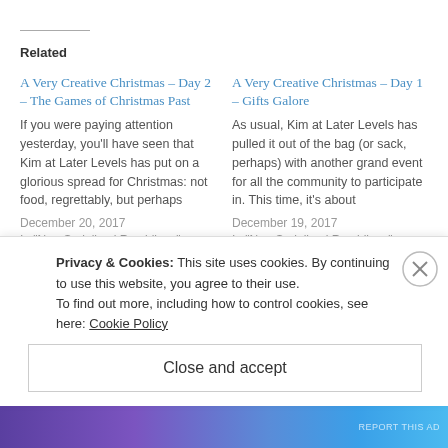Related
A Very Creative Christmas – Day 2 – The Games of Christmas Past
If you were paying attention yesterday, you'll have seen that Kim at Later Levels has put on a glorious spread for Christmas: not food, regrettably, but perhaps
December 20, 2017
In "Non-Serialised Ramblings"
A Very Creative Christmas – Day 1 – Gifts Galore
As usual, Kim at Later Levels has pulled it out of the bag (or sack, perhaps) with another grand event for all the community to participate in. This time, it's about
December 19, 2017
In "Non-Serialised Ramblings"
A Very Creative Christmas – Day 7 – Prezzie Time!
Privacy & Cookies: This site uses cookies. By continuing to use this website, you agree to their use.
To find out more, including how to control cookies, see here: Cookie Policy
Close and accept